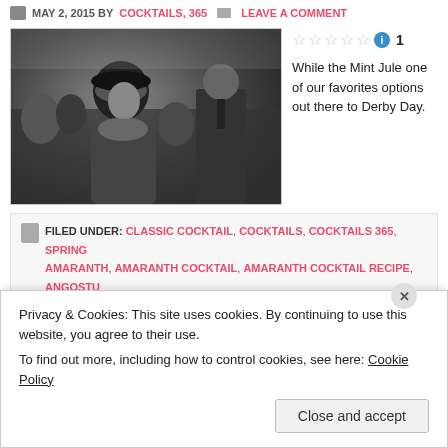MAY 2, 2015 BY COCKTAILS, 365  LEAVE A COMMENT
[Figure (photo): Black and white photograph of people at what appears to be a Kentucky Derby event, a woman in a hat in the foreground]
While the Mint Jule one of our favorites options out there to Derby Day.
FILED UNDER: CLASSIC COCKTAIL, COCKTAILS, COCKTAILS 365, SPRING AMARANTH, AMARANTH COCKTAIL, AMARANTH COCKTAIL RECIPE, ANGOSTU BOURBON COCKTAILS, CLUB SODA, KENTUCKY DERBY, KENTUCKY DERBY C JUICE, MINT JULEP, ORANGE CURACAO, SUGAR, SWEET VERMOUTH, THE BE
Privacy & Cookies: This site uses cookies. By continuing to use this website, you agree to their use.
To find out more, including how to control cookies, see here: Cookie Policy